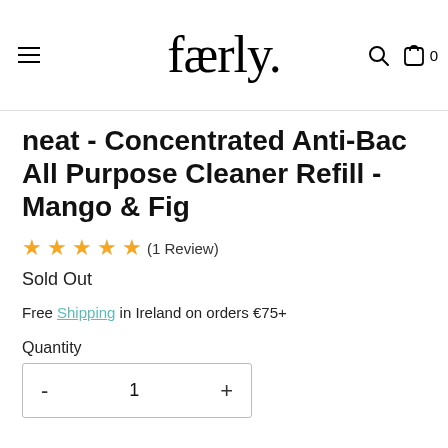faerly.
neat - Concentrated Anti-Bac All Purpose Cleaner Refill - Mango & Fig
★★★★★ (1 Review)
Sold Out
Free Shipping in Ireland on orders €75+
Quantity
- 1 +